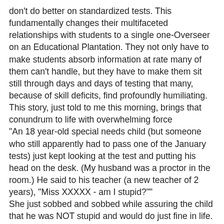don't do better on standardized tests. This fundamentally changes their multifaceted relationships with students to a single one-Overseer on an Educational Plantation. They not only have to make students absorb information at rate many of them can't handle, but they have to make them sit still through days and days of testing that many, because of skill deficits, find profoundly humiliating.
This story, just told to me this morning, brings that conundrum to life with overwhelming force
"An 18 year-old special needs child (but someone who still apparently had to pass one of the January tests) just kept looking at the test and putting his head on the desk. (My husband was a proctor in the room.) He said to his teacher (a new teacher of 2 years), "Miss XXXXX - am I stupid?""
She just sobbed and sobbed while assuring the child that he was NOT stupid and would do just fine in life. My husband came home (a veteran teacher of 34 years) and was sick all night."
I could not- and still cannot- read this story without my eyes tearing up. Is this the atmosphere we want to have in high needs schools? Do we want them to be a place where performance imperatives are imposed with a casual